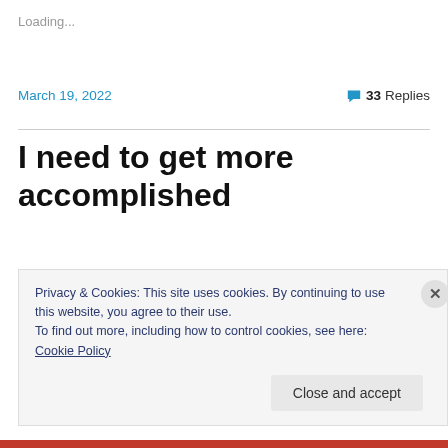Loading...
March 19, 2022
33 Replies
I need to get more accomplished
I'm in a phase where I need to get Lanternfish ready to publish. If everything goes according to plan, that will be in
Privacy & Cookies: This site uses cookies. By continuing to use this website, you agree to their use.
To find out more, including how to control cookies, see here: Cookie Policy
Close and accept